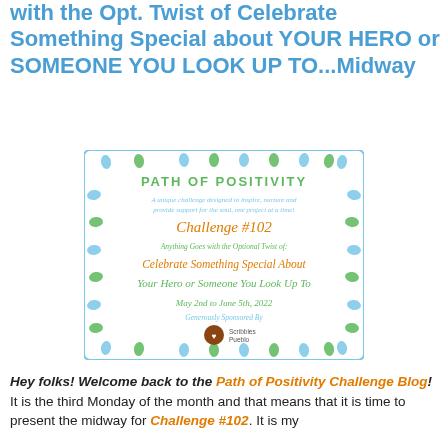with the Opt. Twist of Celebrate Something Special about YOUR HERO or SOMEONE YOU LOOK UP TO...Midway
[Figure (illustration): Path of Positivity Challenge #102 badge with footprint border. Text reads: PATH OF POSITIVITY - A unique challenge designed to inspire, nurture and provide support for the soul, one project at a time! Challenge #102 - Anything Goes with the Optional Twist of: Celebrate Something Special About Your Hero or Someone You Look Up To - May 2nd to June 5th, 2022 - Generously Sponsored By [Scribbles Pueblo logo]]
Hey folks! Welcome back to the Path of Positivity Challenge Blog! It is the third Monday of the month and that means that it is time to present the midway for Challenge #102. It is my